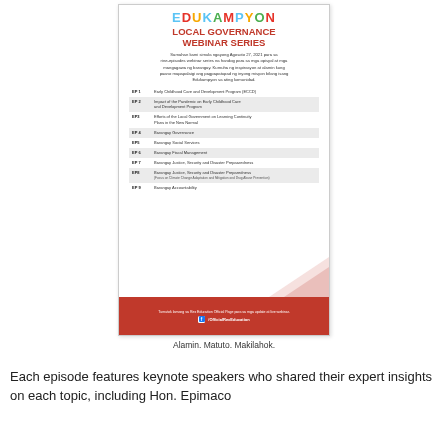[Figure (infographic): Edukampyon Local Governance Webinar Series flyer listing 9 episodes covering topics from Early Childhood Care and Development to Barangay Accountability, with a red footer showing the Rex Education Facebook page.]
Alamin. Matuto. Makilahok.
Each episode features keynote speakers who shared their expert insights on each topic, including Hon. Epimaco